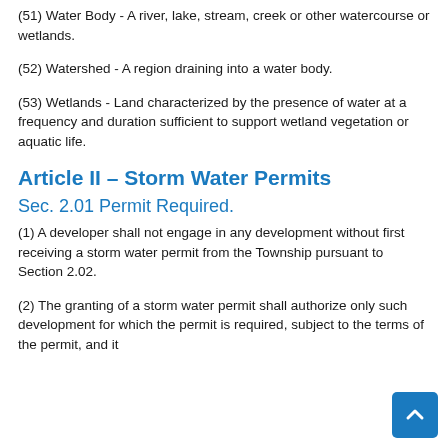(51) Water Body - A river, lake, stream, creek or other watercourse or wetlands.
(52) Watershed - A region draining into a water body.
(53) Wetlands - Land characterized by the presence of water at a frequency and duration sufficient to support wetland vegetation or aquatic life.
Article II – Storm Water Permits
Sec. 2.01 Permit Required.
(1) A developer shall not engage in any development without first receiving a storm water permit from the Township pursuant to Section 2.02.
(2) The granting of a storm water permit shall authorize only such development for which the permit is required, subject to the terms of the permit, and it